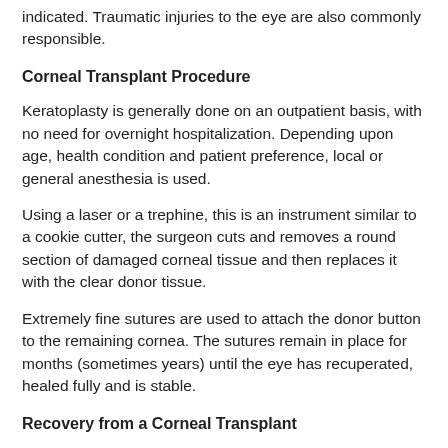indicated. Traumatic injuries to the eye are also commonly responsible.
Corneal Transplant Procedure
Keratoplasty is generally done on an outpatient basis, with no need for overnight hospitalization. Depending upon age, health condition and patient preference, local or general anesthesia is used.
Using a laser or a trephine, this is an instrument similar to a cookie cutter, the surgeon cuts and removes a round section of damaged corneal tissue and then replaces it with the clear donor tissue.
Extremely fine sutures are used to attach the donor button to the remaining cornea. The sutures remain in place for months (sometimes years) until the eye has recuperated, healed fully and is stable.
Recovery from a Corneal Transplant